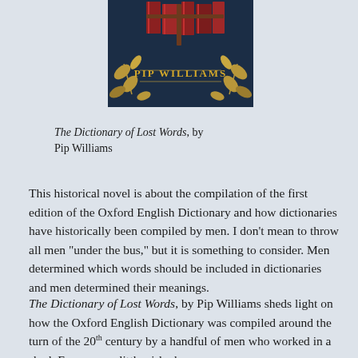[Figure (illustration): Book cover of 'The Dictionary of Lost Words' by Pip Williams, showing a dark navy background with gold leaf decorations and red/brown books at the top, with the author name 'PIP WILLIAMS' in gold lettering]
The Dictionary of Lost Words, by Pip Williams
This historical novel is about the compilation of the first edition of the Oxford English Dictionary and how dictionaries have historically been compiled by men. I don't mean to throw all men “under the bus,” but it is something to consider. Men determined which words should be included in dictionaries and men determined their meanings.
The Dictionary of Lost Words, by Pip Williams sheds light on how the Oxford English Dictionary was compiled around the turn of the 20th century by a handful of men who worked in a shed. Esme was a little girl who